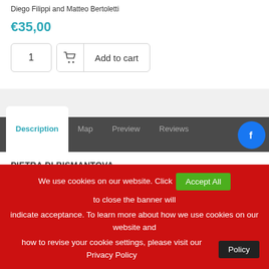Diego Filippi and Matteo Bertoletti
€35,00
1   Add to cart
Description   Map   Preview   Reviews
PIETRA DI BISMANTOVA
Routes and crags on the pearl of the Emilian Apennines
The Apennines in the Emilia region have a pearl of rock which is not like...
We use cookies on our website. Click Accept All to close the banner will indicate acceptance. To learn more about how we use cookies on our website and how to revise your cookie settings, please visit our Privacy Policy Policy